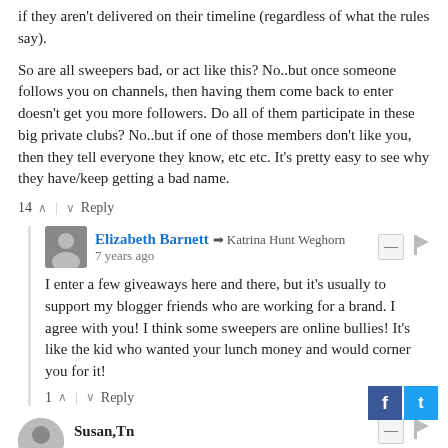if they aren't delivered on their timeline (regardless of what the rules say).
So are all sweepers bad, or act like this? No..but once someone follows you on channels, then having them come back to enter doesn't get you more followers. Do all of them participate in these big private clubs? No..but if one of those members don't like you, then they tell everyone they know, etc etc. It's pretty easy to see why they have/keep getting a bad name.
14 ^ | v Reply
Elizabeth Barnett → Katrina Hunt Weghorn
7 years ago
I enter a few giveaways here and there, but it's usually to support my blogger friends who are working for a brand. I agree with you! I think some sweepers are online bullies! It's like the kid who wanted your lunch money and would corner you for it!
1 ^ | v Reply
Susan,Tn
7 years ago
Great article.. I became a "sweeper" 2-3 yrs ago & never thought